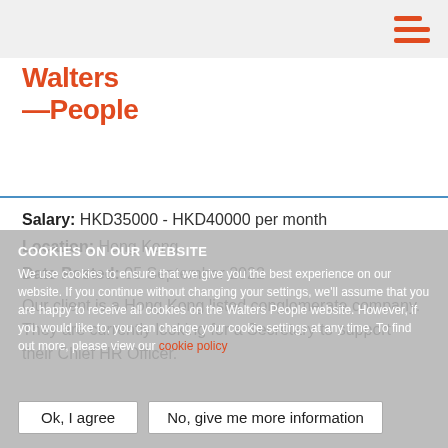[Figure (logo): Walters People logo in orange]
Salary: HKD35000 - HKD40000 per month
Location: Hong Kong
Date Posted: 05 September 2022
Our client is a Hong Kong listed conglomerate company. They are currently looking for a Secretary to support their Chief HR Officer.
COOKIES ON OUR WEBSITE
We use cookies to ensure that we give you the best experience on our website. If you continue without changing your settings, we'll assume that you are happy to receive all cookies on the Walters People website. However, if you would like to, you can change your cookie settings at any time. To find out more, please view our cookie policy